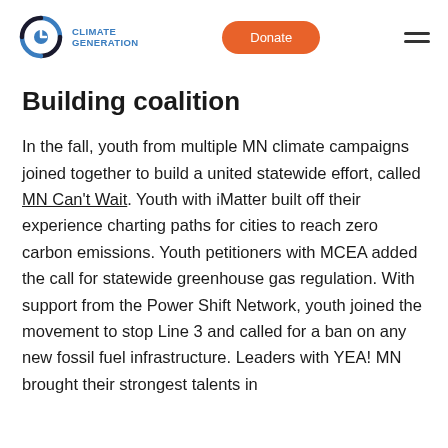Climate Generation | Donate
Building coalition
In the fall, youth from multiple MN climate campaigns joined together to build a united statewide effort, called MN Can't Wait. Youth with iMatter built off their experience charting paths for cities to reach zero carbon emissions. Youth petitioners with MCEA added the call for statewide greenhouse gas regulation. With support from the Power Shift Network, youth joined the movement to stop Line 3 and called for a ban on any new fossil fuel infrastructure. Leaders with YEA! MN brought their strongest talents in